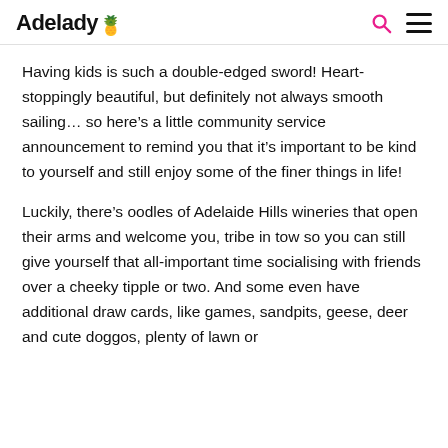Adelady
Having kids is such a double-edged sword! Heart-stoppingly beautiful, but definitely not always smooth sailing… so here's a little community service announcement to remind you that it's important to be kind to yourself and still enjoy some of the finer things in life!
Luckily, there's oodles of Adelaide Hills wineries that open their arms and welcome you, tribe in tow so you can still give yourself that all-important time socialising with friends over a cheeky tipple or two. And some even have additional draw cards, like games, sandpits, geese, deer and cute doggos, plenty of lawn or